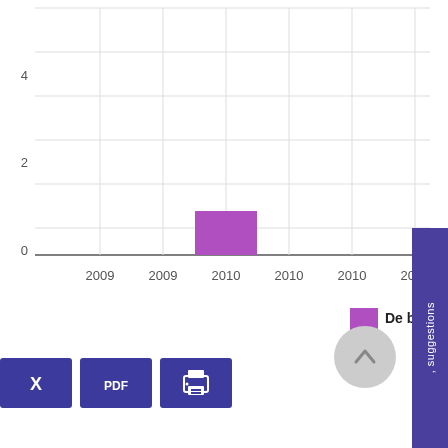[Figure (bar-chart): De brevete de i]